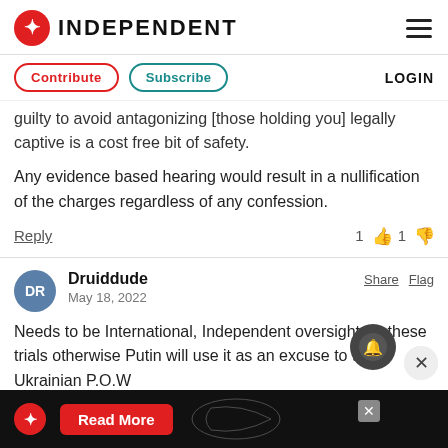INDEPENDENT
Contribute  Subscribe  LOGIN
guilty to avoid antagonizing [those holding you] legally captive is a cost free bit of safety.
Any evidence based hearing would result in a nullification of the charges regardless of any confession.
Reply  1 👍 1 👎
Druiddude  May 18, 2022  Share  Flag
Needs to be International, Independent oversight for these trials otherwise Putin will use it as an excuse to treat Ukrainian P.O.W...